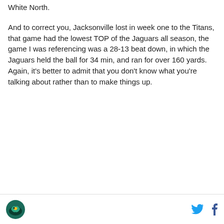White North.
And to correct you, Jacksonville lost in week one to the Titans, that game had the lowest TOP of the Jaguars all season, the game I was referencing was a 28-13 beat down, in which the Jaguars held the ball for 34 min, and ran for over 160 yards.  Again, it's better to admit that you don't know what you're talking about rather than to make things up.
Logo and social media icons (Twitter, Facebook)